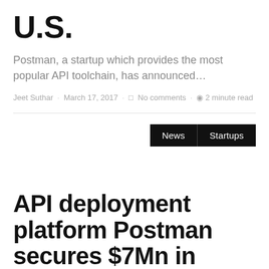U.S.
Postman, a startup which provides the most popular API toolchain, has announced…
Jeet Suthar · March 17, 2017 · No comments · 2 minute read
News  Startups
API deployment platform Postman secures $7Mn in